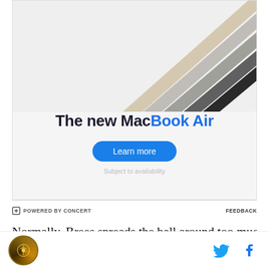[Figure (photo): Advertisement for the new MacBook Air showing multiple laptop silhouettes fanned out in different colors against a light gray background, with the text 'The new MacBook Air', a blue 'Learn more' button, and 'Subject to availability' note. Below the ad is a 'POWERED BY CONCERT' label on the left and 'FEEDBACK' on the right.]
Normally, Brees spreads the ball around too much for